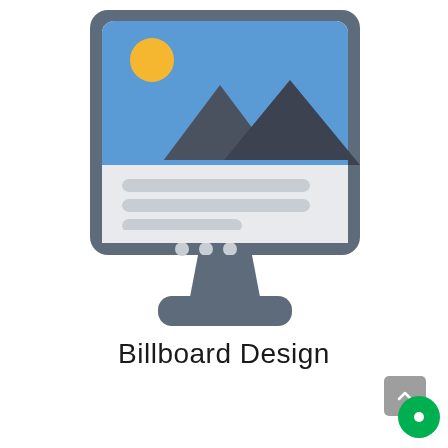[Figure (illustration): Flat icon illustration of a billboard/monitor display. The monitor has a dark blue-grey rounded rectangular frame. Inside the screen, the top portion shows a blue sky background with a yellow sun circle in the upper left, and two dark grey mountain silhouettes. The bottom portion of the screen shows a light grey area with three rounded rectangle placeholder text lines and three small dots below them. Below the monitor screen is a dark grey pedestal stand with a trapezoidal neck and a wide rounded base.]
Billboard Design